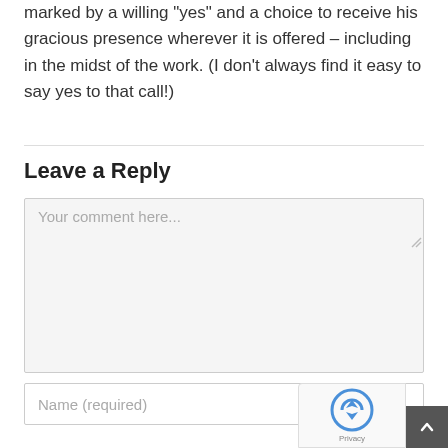marked by a willing "yes" and a choice to receive his gracious presence wherever it is offered – including in the midst of the work. (I don't always find it easy to say yes to that call!)
Leave a Reply
Your comment here...
Name (required)